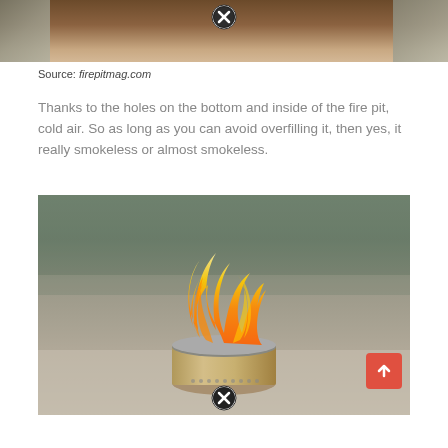[Figure (photo): Top portion of an outdoor photo, appears to show rocks/ground with close button overlay]
Source: firepitmag.com
Thanks to the holes on the bottom and inside of the fire pit, cold air. So as long as you can avoid overfilling it, then yes, it really smokeless or almost smokeless.
[Figure (photo): People sitting around a Solo Stove smokeless fire pit outdoors on a patio, with large orange flames visible, stainless steel cylindrical fire pit in center]
[Figure (other): Close button (X in circle) at bottom of second image]